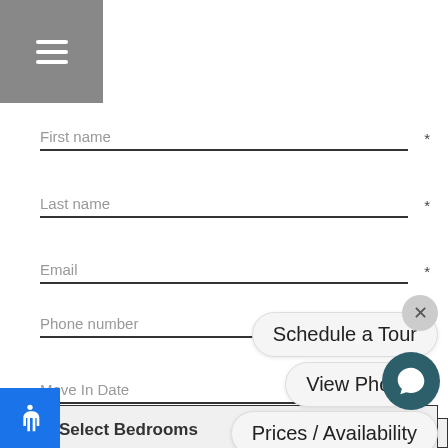[Figure (screenshot): Mobile apartment listing form with hamburger menu, form fields (First name, Last name, Email, Phone number, Select Bedrooms, Move In Date), and floating action buttons (Schedule a Tour, View Photos, Prices/Availability, chat bubble, close X button, accessibility button).]
First name *
Last name *
Email *
Phone number *
Select Bedrooms
Move In Date
Schedule a Tour
View Photos
Prices / Availability